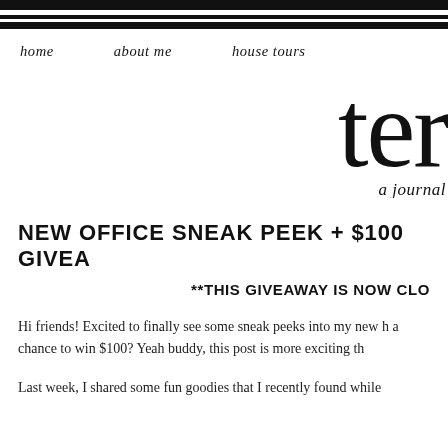home   about me   house tours
ter  a journal
NEW OFFICE SNEAK PEEK + $100 GIVEA
**THIS GIVEAWAY IS NOW CLO
Hi friends! Excited to finally see some sneak peeks into my new h a chance to win $100? Yeah buddy, this post is more exciting th
Last week, I shared some fun goodies that I recently found while